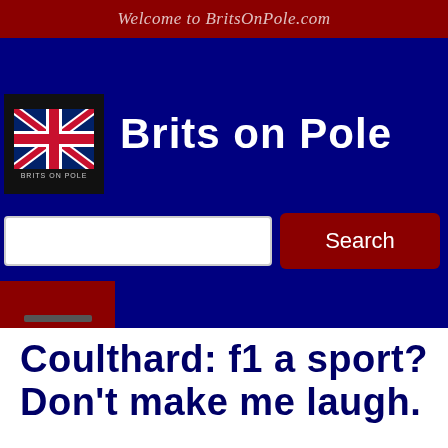Welcome to BritsOnPole.com
[Figure (logo): Brits on Pole website logo with UK flag icon and site name]
Brits on Pole
[Figure (screenshot): Search bar with white input field and dark red Search button]
[Figure (other): Dark red hamburger menu icon with two horizontal lines]
Coulthard: f1 a sport? Don't make me laugh.